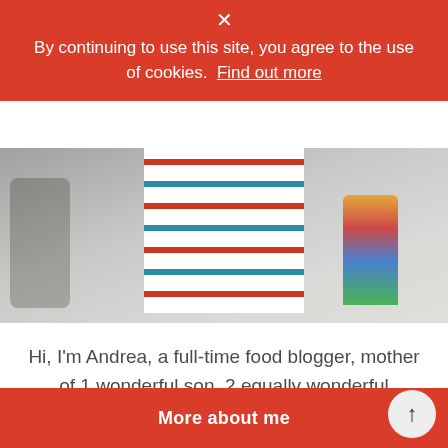× By continuing to use this site, you agree to the use of cookies.  Find out more
[Figure (photo): Photo of a child wearing a colorful striped shirt (red, teal, white horizontal stripes), standing in what appears to be a kitchen or indoor area. Another colorful object is visible in the background.]
Hi, I'm Andrea, a full-time food blogger, mother of 1 wonderful son, 2 equally wonderful stepsons and wife to a darling husband. I live in Munich, Germany with my family. I love traveling, sharing new recipes, and spending time with my family.
More about me